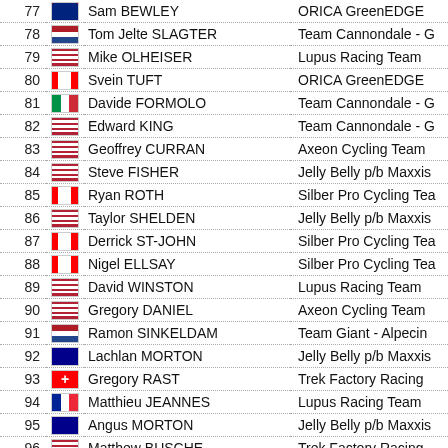| # | Flag | Name | Team |
| --- | --- | --- | --- |
| 77 | NZ | Sam BEWLEY | ORICA GreenEDGE |
| 78 | NL | Tom Jelte SLAGTER | Team Cannondale - G |
| 79 | USA | Mike OLHEISER | Lupus Racing Team |
| 80 | CA | Svein TUFT | ORICA GreenEDGE |
| 81 | IT | Davide FORMOLO | Team Cannondale - G |
| 82 | USA | Edward KING | Team Cannondale - G |
| 83 | USA | Geoffrey CURRAN | Axeon Cycling Team |
| 84 | USA | Steve FISHER | Jelly Belly p/b Maxxis |
| 85 | CA | Ryan ROTH | Silber Pro Cycling Tea |
| 86 | USA | Taylor SHELDEN | Jelly Belly p/b Maxxis |
| 87 | CA | Derrick ST-JOHN | Silber Pro Cycling Tea |
| 88 | CA | Nigel ELLSAY | Silber Pro Cycling Tea |
| 89 | USA | David WINSTON | Lupus Racing Team |
| 90 | USA | Gregory DANIEL | Axeon Cycling Team |
| 91 | NL | Ramon SINKELDAM | Team Giant - Alpecin |
| 92 | AU | Lachlan MORTON | Jelly Belly p/b Maxxis |
| 93 | CH | Gregory RAST | Trek Factory Racing |
| 94 | FR | Matthieu JEANNES | Lupus Racing Team |
| 95 | AU | Angus MORTON | Jelly Belly p/b Maxxis |
| 96 | USA | Matthew BUSCHE | Trek Factory Racing |
| 97 | AU | Hayden ROULSTON | Trek Factory Racing |